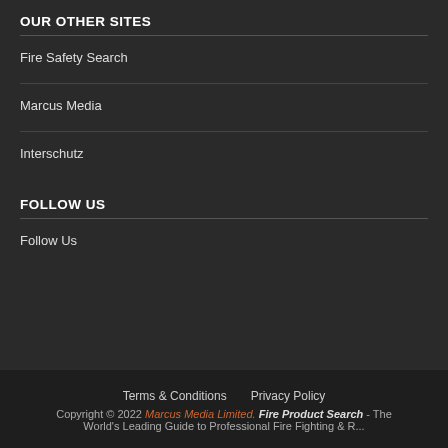OUR OTHER SITES
Fire Safety Search
Marcus Media
Interschutz
FOLLOW US
Follow Us
Terms & Conditions    Privacy Policy
Copyright © 2022 Marcus Media Limited. Fire Product Search - The World's Leading Guide to Professional Fire Fighting & R...